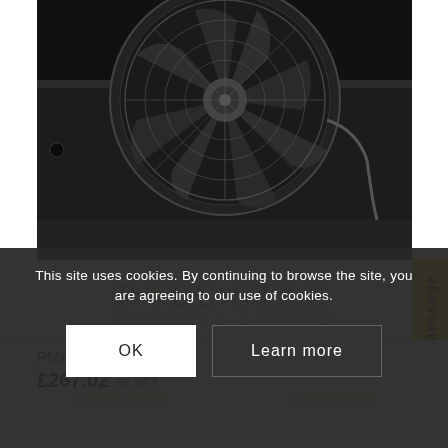[Figure (photo): Black industrial axial fan mounted on a black metal plate, photographed against a dark background. The fan has a wire safety guard over the blades. The Pole Star Products Limited logo is visible below the fan.]
PMA3-550S6
£267.02 ex VAT
This site uses cookies. By continuing to browse the site, you are agreeing to our use of cookies.
OK
Learn more